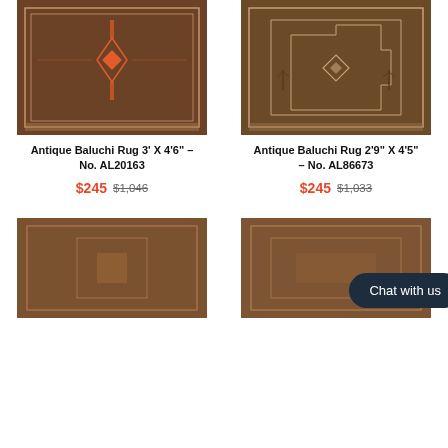[Figure (photo): Antique Baluchi rug with dark brown background and orange geometric center medallion design]
[Figure (photo): Antique Baluchi rug with dark brown background and geometric stepped border design]
Antique Baluchi Rug 3' X 4'6" - No. AL20163
$245 $1,046
Antique Baluchi Rug 2'9" X 4'5" - No. AL86673
$245 $1,033
[Figure (photo): Antique Baluchi rug with brown tones and simple geometric design]
[Figure (photo): Antique Baluchi rug with warm brown tones partially obscured by chat button]
Chat with us